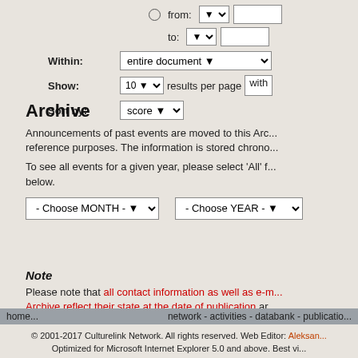from: [dropdown] [textbox]   to: [dropdown] [textbox]
Within: entire document [dropdown]
Show: 10 [dropdown] results per page with
Sort by: score [dropdown]
Archive
Announcements of past events are moved to this Archive for reference purposes. The information is stored chrono...
To see all events for a given year, please select 'All' f... below.
- Choose MONTH -   - Choose YEAR -
Note
Please note that all contact information as well as e-m... Archive reflect their state at the date of publication ar... correct.
home...   network - activities - databank - publicatio...
© 2001-2017 Culturelink Network. All rights reserved. Web Editor: Aleksan...
Optimized for Microsoft Internet Explorer 5.0 and above. Best vi...